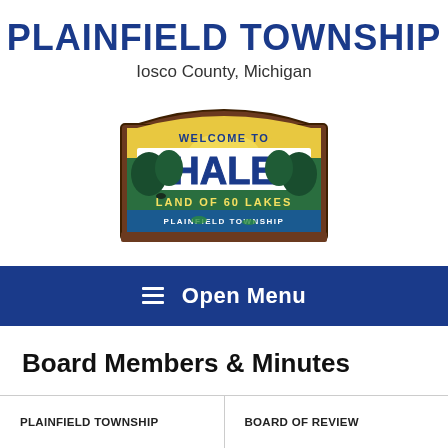PLAINFIELD TOWNSHIP
Iosco County, Michigan
[Figure (logo): Welcome to Hale, Land of 60 Lakes, Plainfield Township sign logo]
≡  Open Menu
Board Members & Minutes
PLAINFIELD TOWNSHIP
BOARD OF REVIEW